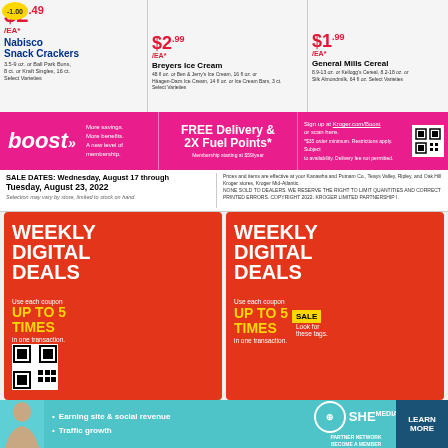[Figure (infographic): Grocery store weekly ad top section showing product deals: Nabisco Snack Crackers $2.49/EA, Breyers Ice Cream 3.99 with -1.00 = $2.99/EA, General Mills Cereal 2.99 with -1.00 = $1.99/EA]
[Figure (infographic): Kroger Boost membership banner: More savings, more benefits, a new level of membership. FREE Delivery & 2X Fuel Points. Membership starting at $59/year. Sign up at Kroger.com/Boost or scan QR code.]
SALE DATES: Wednesday, August 17 through Tuesday, August 23, 2022. Selection may vary by store, limited to stock on hand.
Prices and items are effective at your Kanawha and Putnam Co., Teays Valley, Ripley, and Oak Hill Kroger stores, Kroger Mid-Atlantic. NONE SOLD TO DEALERS. WE RESERVE THE RIGHT TO LIMIT QUANTITIES AND CORRECT PRINTED ERRORS. COPYRIGHT 2022. KROGER LIMITED PARTNERSHIP I.
[Figure (infographic): Weekly Digital Deals red card left: Use each coupon UP TO 5 TIMES in one transaction. QR code shown.]
[Figure (infographic): Weekly Digital Deals red card right: Use each coupon UP TO 5 TIMES in one transaction. SALE tag shown with Look for these tags.]
[Figure (infographic): SHE Media Partner Network ad banner: Earning site & social revenue, Traffic growth. LEARN MORE button.]